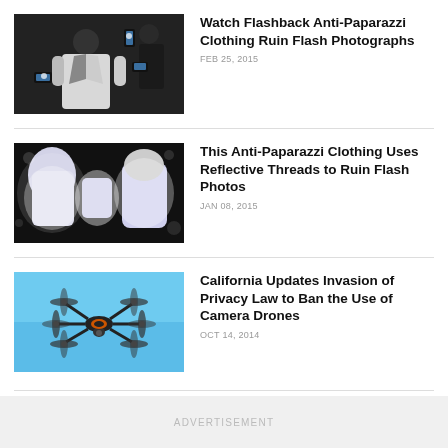[Figure (photo): Person in white jacket surrounded by people photographing with smartphones in dark setting]
Watch Flashback Anti-Paparazzi Clothing Ruin Flash Photographs
FEB 25, 2015
[Figure (photo): Glowing reflective clothing items (shirt, bag, hoodie) shown under flash photography in dark background]
This Anti-Paparazzi Clothing Uses Reflective Threads to Ruin Flash Photos
JAN 08, 2015
[Figure (photo): Multi-rotor camera drone flying against blue sky]
California Updates Invasion of Privacy Law to Ban the Use of Camera Drones
OCT 14, 2014
ADVERTISEMENT